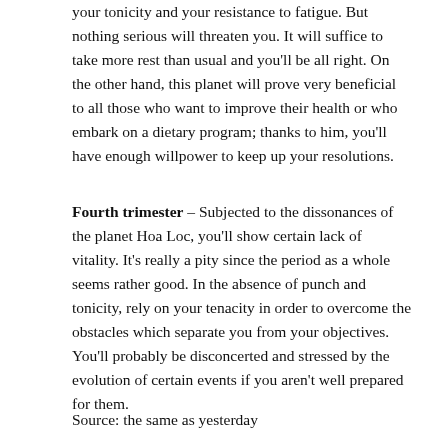your tonicity and your resistance to fatigue. But nothing serious will threaten you. It will suffice to take more rest than usual and you'll be all right. On the other hand, this planet will prove very beneficial to all those who want to improve their health or who embark on a dietary program; thanks to him, you'll have enough willpower to keep up your resolutions.
Fourth trimester – Subjected to the dissonances of the planet Hoa Loc, you'll show certain lack of vitality. It's really a pity since the period as a whole seems rather good. In the absence of punch and tonicity, rely on your tenacity in order to overcome the obstacles which separate you from your objectives. You'll probably be disconcerted and stressed by the evolution of certain events if you aren't well prepared for them.
Source: the same as yesterday